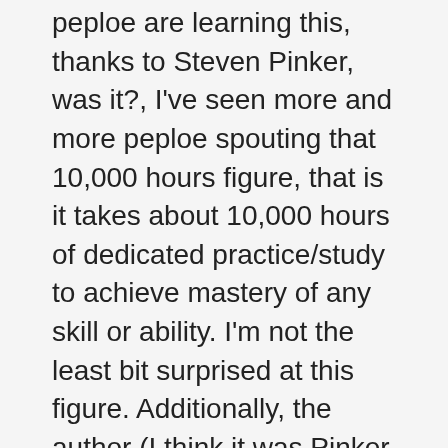peploe are learning this, thanks to Steven Pinker, was it?, I've seen more and more peploe spouting that 10,000 hours figure, that is it takes about 10,000 hours of dedicated practice/study to achieve mastery of any skill or ability. I'm not the least bit surprised at this figure. Additionally, the author (I think it was Pinker but I'm not sure, could have been Malcolm Gladwell) asserted that the only primary difference between peploe who master a skill and peploe who don't is that the masters put in the necessary time, that's it. I would generally agree.I've seen language teachers and bloggers attempting to address this problem in a sort of roundabout way (not to say it's incorrect, I agree with it) by telling peploe that motivation matters more than anything, that